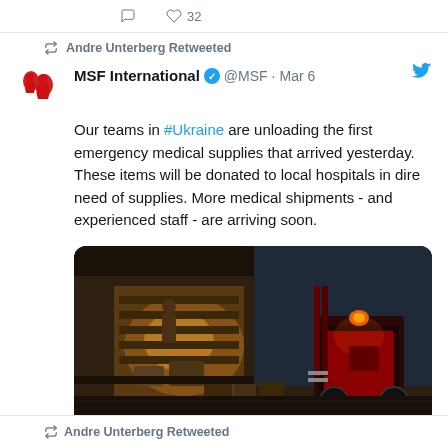32 (likes, partial previous tweet)
Andre Unterberg Retweeted
MSF International @MSF · Mar 6
Our teams in #Ukraine are unloading the first emergency medical supplies that arrived yesterday. These items will be donated to local hospitals in dire need of supplies. More medical shipments - and experienced staff - are arriving soon.
[Figure (photo): Workers unloading emergency medical supplies from a truck in a dark warehouse setting with a forklift visible]
3 comments, 166 likes